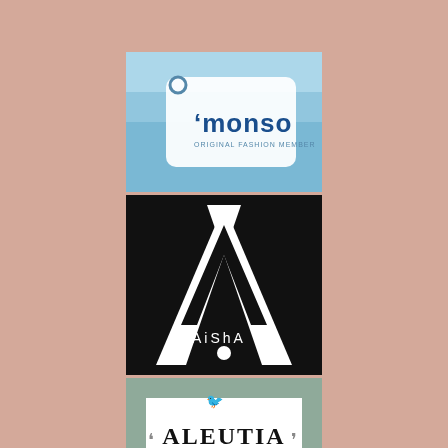[Figure (logo): Monso brand logo on a price tag shape with blue sky background. Text reads 'monso' in dark blue with tagline 'ORIGINAL FASHION MEMBER']
[Figure (logo): AISHA brand logo on black square background. Large white geometric letter A shape with text 'AISHA' and a white dot at the bottom center.]
[Figure (logo): ALEUTIA brand logo on a sage green and white background with decorative border elements and a small bird silhouette above the text 'ALEUTIA' in bold serif font.]